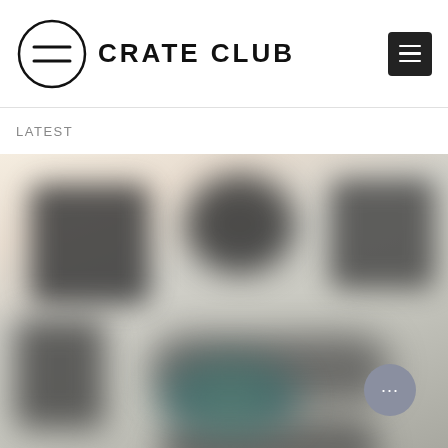CRATE CLUB
LATEST
[Figure (photo): Blurred product image showing several dark tactical/military gear items arranged in a grid layout with a light beige background. A chat support bubble is visible in the bottom right corner.]